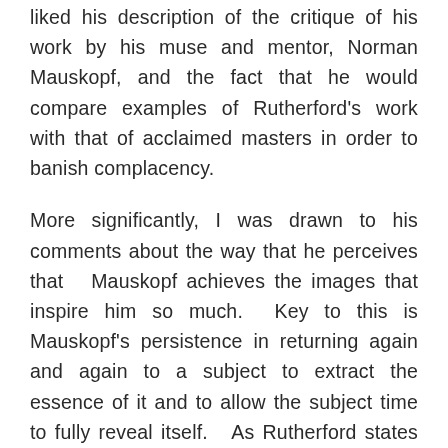liked his description of the critique of his work by his muse and mentor, Norman Mauskopf, and the fact that he would compare examples of Rutherford's work with that of acclaimed masters in order to banish complacency.

More significantly, I was drawn to his comments about the way that he perceives that  Mauskopf achieves the images that inspire him so much.  Key to this is Mauskopf's persistence in returning again and again to a subject to extract the essence of it and to allow the subject time to fully reveal itself.  As Rutherford states 'Norman......... lingers on his projects, indulging his sense of the decisive moment and a perspective on humanity that is only achieved with ample time spent.'  I